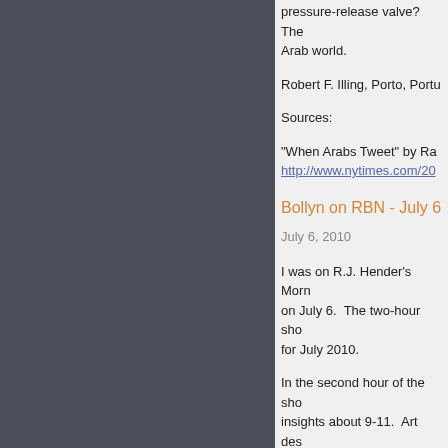pressure-release valve? The Arab world.
Robert F. Illing, Porto, Portu...
Sources:
"When Arabs Tweet" by Ra... http://www.nytimes.com/20...
Bollyn on RBN - July 6
July 6, 2010
I was on R.J. Hender's Morn... on July 6.  The two-hour sho... for July 2010.
In the second hour of the sho... insights about 9-11.  Art des... destruction of the Enron rela... out of the vault in WTC 6) th... which are in the second half
The July 6 show can be liste... morning-liberty-show-july-...